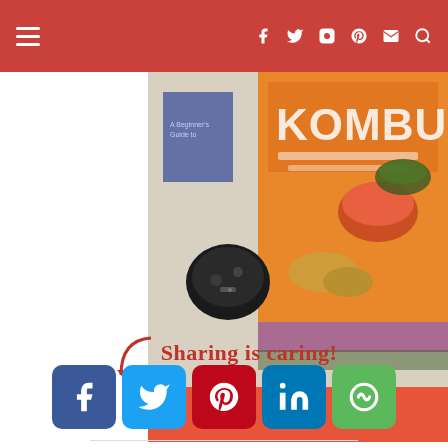Navigation bar with hamburger menu and social icons (Facebook, Twitter, Instagram, Pinterest, Email, Search)
[Figure (photo): Photo of a Kombucha book and a small black electronic component on a white table surface]
Sharing is caring!
[Figure (infographic): Social sharing buttons: Facebook, Twitter, Pinterest, LinkedIn, More (green)]
0 Comments
[Figure (infographic): Bottom share bar with Twitter, Facebook, Email, WhatsApp, SMS, More buttons]